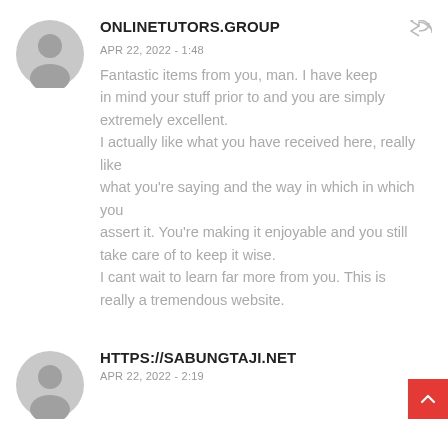[Figure (illustration): Gray avatar/profile placeholder icon for first comment]
ONLINETUTORS.GROUP
APR 22, 2022 - 1:48
Fantastic items from you, man. I have keep in mind your stuff prior to and you are simply extremely excellent.
I actually like what you have received here, really like
what you’re saying and the way in which in which you
assert it. You’re making it enjoyable and you still take care of to keep it wise.
I cant wait to learn far more from you. This is really a tremendous website.
[Figure (illustration): Gray avatar/profile placeholder icon for second comment]
HTTPS://SABUNGTAJI.NET
APR 22, 2022 - 2:19